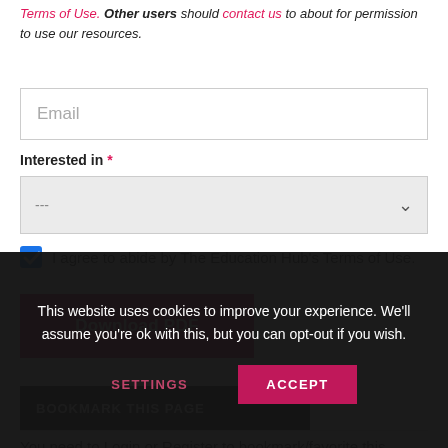Terms of Use. Other users should contact us to about for permission to use our resources.
[Figure (screenshot): Email input field with placeholder text 'Email']
Interested in *
[Figure (screenshot): Dropdown selector showing '---' with chevron]
I agree to abide by The Education Hub's Terms of Use.
[Figure (screenshot): Download PDF button in pink/magenta]
BOOKMARK THIS PAGE
You need to Login or Register to bookmark/favorite this
This website uses cookies to improve your experience. We'll assume you're ok with this, but you can opt-out if you wish.
[Figure (screenshot): SETTINGS and ACCEPT buttons on cookie banner]